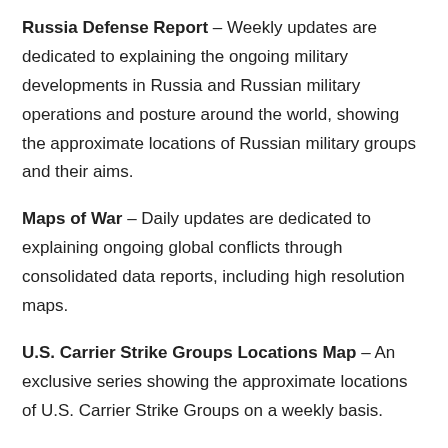Russia Defense Report – Weekly updates are dedicated to explaining the ongoing military developments in Russia and Russian military operations and posture around the world, showing the approximate locations of Russian military groups and their aims.
Maps of War – Daily updates are dedicated to explaining ongoing global conflicts through consolidated data reports, including high resolution maps.
U.S. Carrier Strike Groups Locations Map – An exclusive series showing the approximate locations of U.S. Carrier Strike Groups on a weekly basis.
Military Analyses – Data-driven analyses of key events and ongoing developments of the military industrial complex around the world, the major world powers' military capabilities and their impact on the geopolitical situation around the globe.